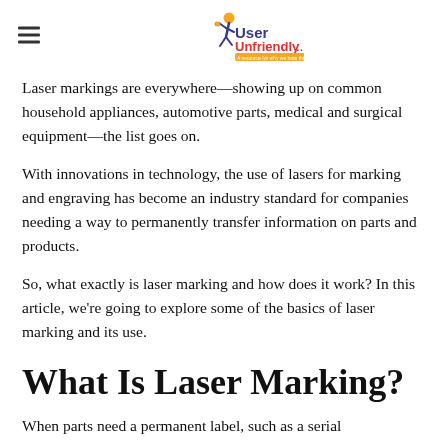UserUnfriendly logo and hamburger menu
Laser markings are everywhere—showing up on common household appliances, automotive parts, medical and surgical equipment—the list goes on.
With innovations in technology, the use of lasers for marking and engraving has become an industry standard for companies needing a way to permanently transfer information on parts and products.
So, what exactly is laser marking and how does it work? In this article, we're going to explore some of the basics of laser marking and its use.
What Is Laser Marking?
When parts need a permanent label, such as a serial